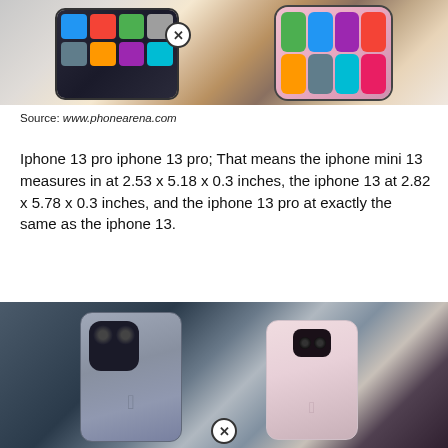[Figure (photo): Two hands holding smartphones side by side — an Android phone on the left and an iPhone 13 on the right, both showing their home screens.]
Source: www.phonearena.com
Iphone 13 pro iphone 13 pro; That means the iphone mini 13 measures in at 2.53 x 5.18 x 0.3 inches, the iphone 13 at 2.82 x 5.78 x 0.3 inches, and the iphone 13 pro at exactly the same as the iphone 13.
[Figure (photo): Two iPhones held from behind showing their rear cameras — a dark blue/gray iPhone 13 Pro on the left with triple camera system, and a pink iPhone 13 on the right with dual camera system.]